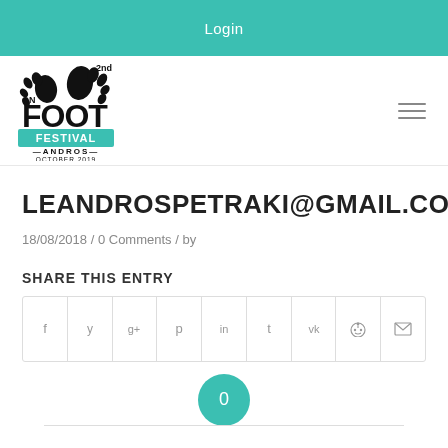Login
[Figure (logo): On Foot Festival 2nd edition logo with footprint icon, teal banner reading FESTIVAL, ANDROS, OCTOBER 2019]
LEANDROSPETRAKI@GMAIL.COM
18/08/2018 / 0 Comments / by
SHARE THIS ENTRY
[Figure (infographic): Row of social share icon buttons: Facebook, Twitter, Google+, Pinterest, LinkedIn, Tumblr, VK, Reddit, Email]